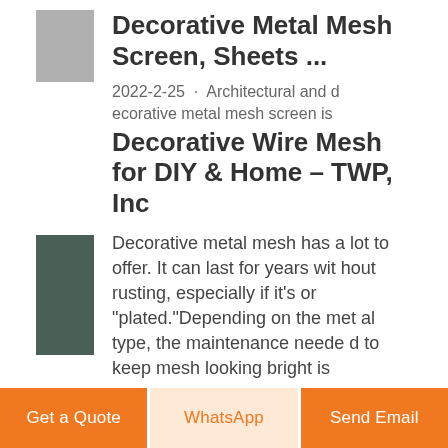[Figure (photo): Small thumbnail image of decorative metal mesh, gray tone]
Decorative Metal Mesh Screen, Sheets ...
2022-2-25 · Architectural and d ecorative metal mesh screen is
Decorative Wire Mesh for DIY & Home - TWP, Inc
[Figure (photo): Thumbnail image of decorative wire mesh, dark green/teal color]
Decorative metal mesh has a lot to offer. It can last for years wit hout rusting, especially if it's or "plated."Depending on the met al type, the maintenance neede d to keep mesh looking bright is
Get a Quote | WhatsApp | Send Email